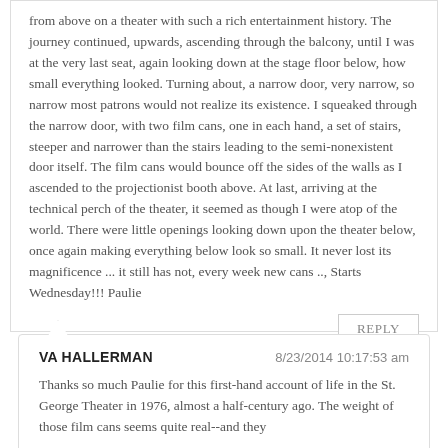from above on a theater with such a rich entertainment history. The journey continued, upwards, ascending through the balcony, until I was at the very last seat, again looking down at the stage floor below, how small everything looked. Turning about, a narrow door, very narrow, so narrow most patrons would not realize its existence. I squeaked through the narrow door, with two film cans, one in each hand, a set of stairs, steeper and narrower than the stairs leading to the semi-nonexistent door itself. The film cans would bounce off the sides of the walls as I ascended to the projectionist booth above. At last, arriving at the technical perch of the theater, it seemed as though I were atop of the world. There were little openings looking down upon the theater below, once again making everything below look so small. It never lost its magnificence ... it still has not, every week new cans .., Starts Wednesday!!! Paulie
REPLY
VA HALLERMAN
8/23/2014 10:17:53 am
Thanks so much Paulie for this first-hand account of life in the St. George Theater in 1976, almost a half-century ago. The weight of those film cans seems quite real--and they